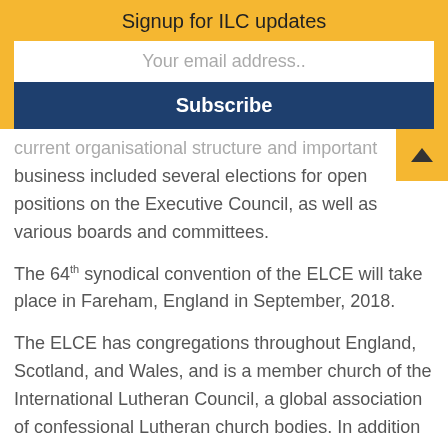Signup for ILC updates
Your email address..
Subscribe
current organisational structure and important business included several elections for open positions on the Executive Council, as well as various boards and committees.
The 64th synodical convention of the ELCE will take place in Fareham, England in September, 2018.
The ELCE has congregations throughout England, Scotland, and Wales, and is a member church of the International Lutheran Council, a global association of confessional Lutheran church bodies. In addition to increased participation in inter-Lutheran discussions in Europe in recent years, the ELCE has